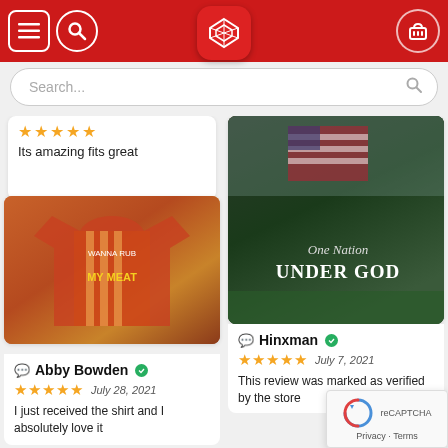[Figure (screenshot): E-commerce website header with red background, hamburger menu icon, search icon, center logo (teeicconshop.com), and cart icon on right]
[Figure (screenshot): Search bar with placeholder text 'Search...' and search icon on right]
Its amazing fits great
[Figure (photo): Photo of a colorful BBQ/meat themed shirt with cartoon pig characters]
Abby Bowden — verified reviewer, 5 stars, July 28, 2021. I just received the shirt and I absolutely love it
[Figure (photo): Photo of a garden flag reading 'One Nation Under God' with an American flag and eagle graphic]
Hinxman — verified reviewer, 5 stars, July 7, 2021. This review was marked as verified by the store